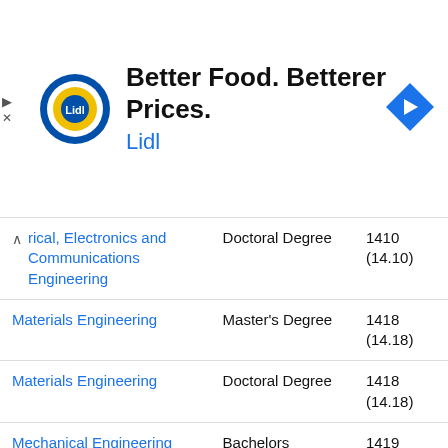[Figure (logo): Lidl advertisement banner with Lidl logo, text 'Better Food. Betterer Prices. Lidl', and navigation icon]
| Program | Degree | Code |
| --- | --- | --- |
| rical, Electronics and Communications Engineering | Doctoral Degree | 1410 (14.10) |
| Materials Engineering | Master's Degree | 1418 (14.18) |
| Materials Engineering | Doctoral Degree | 1418 (14.18) |
| Mechanical Engineering | Bachelors Degree | 1419 (14.19) |
| Mechanical Engineering | Master's Degree | 1419 (14.19) |